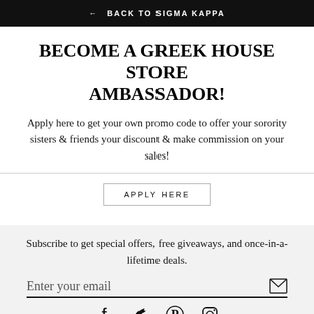← BACK TO SIGMA KAPPA
BECOME A GREEK HOUSE STORE AMBASSADOR!
Apply here to get your own promo code to offer your sorority sisters & friends your discount & make commission on your sales!
APPLY HERE
Subscribe to get special offers, free giveaways, and once-in-a-lifetime deals.
Enter your email